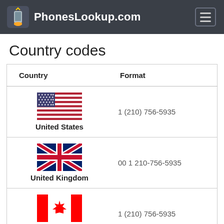PhonesLookup.com
Country codes
| Country | Format |
| --- | --- |
| United States | 1 (210) 756-5935 |
| United Kingdom | 00 1 210-756-5935 |
| Canada | 1 (210) 756-5935 |